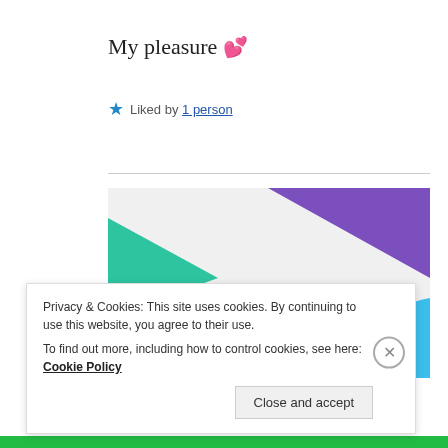My pleasure 💕
★ Liked by 1 person
[Figure (illustration): Promotional banner image with purple triangle at top, teal/green triangle on left, blue curved shape on right, light gray background. Text reads: 'How to start selling subscriptions online' with a purple button below.]
Privacy & Cookies: This site uses cookies. By continuing to use this website, you agree to their use.
To find out more, including how to control cookies, see here: Cookie Policy
Close and accept